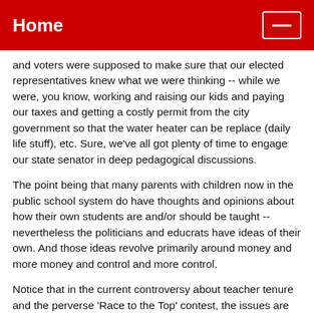Home
and voters were supposed to make sure that our elected representatives knew what we were thinking -- while we were, you know, working and raising our kids and paying our taxes and getting a costly permit from the city government so that the water heater can be replace (daily life stuff), etc. Sure, we've all got plenty of time to engage our state senator in deep pedagogical discussions.
The point being that many parents with children now in the public school system do have thoughts and opinions about how their own students are and/or should be taught -- nevertheless the politicians and educrats have ideas of their own. And those ideas revolve primarily around money and more money and control and more control.
Notice that in the current controversy about teacher tenure and the perverse 'Race to the Top' contest, the issues are about money, testing, evaluations, data, tracking and money. No debate about new learning alternatives for those not bound for college (the educrats obsession with college-prep is getting weird); no talk about smaller high schools; no discussion about the possibility of